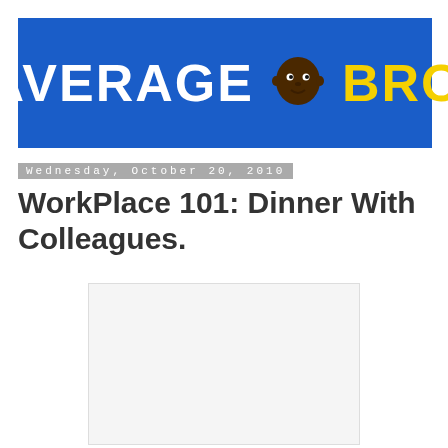AVERAGE BRO
Wednesday, October 20, 2010
WorkPlace 101: Dinner With Colleagues.
[Figure (photo): Empty white/light gray rectangular image placeholder with light border]